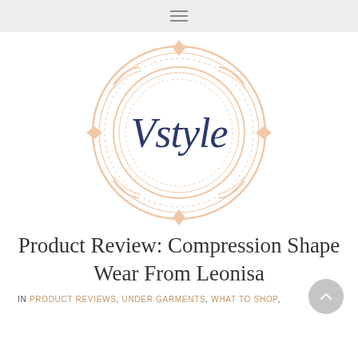≡
[Figure (logo): Vstyle script logo inside an ornate circular peach/salmon colored decorative border with diamond accents]
Product Review: Compression Shape Wear From Leonisa
IN PRODUCT REVIEWS, UNDER GARMENTS, WHAT TO SHOP,